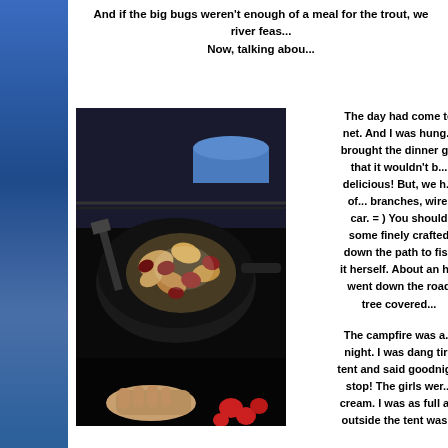And if the big bugs weren't enough of a meal for the trout, we river feas... Now, talking abou...
[Figure (photo): A dark photograph of a skillet or wok containing cooked food including sliced sausages, potatoes, and vegetables. A blue pot is visible in the background. A hand is visible at the bottom of the image holding the pan.]
The day had come to net.  And I was hung... brought the dinner g... that it wouldn't b... delicious!  But, we h... of... branches, wire, car.  = )  You should some finely crafted down the path to fish it herself.  About an h... went down the road tree covered... The campfire was a... night.  I was dang tire tent and said goodnig... stop!  The girls wer... cream.  I was as full a... outside the tent was...